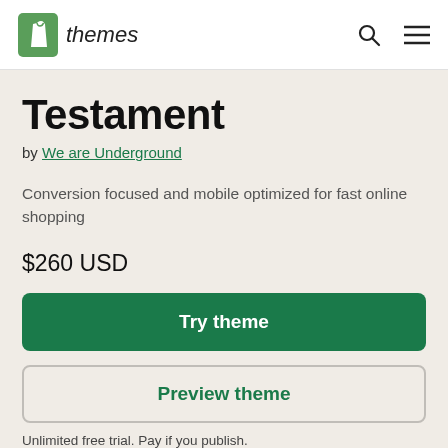themes
Testament
by We are Underground
Conversion focused and mobile optimized for fast online shopping
$260 USD
Try theme
Preview theme
Unlimited free trial. Pay if you publish.